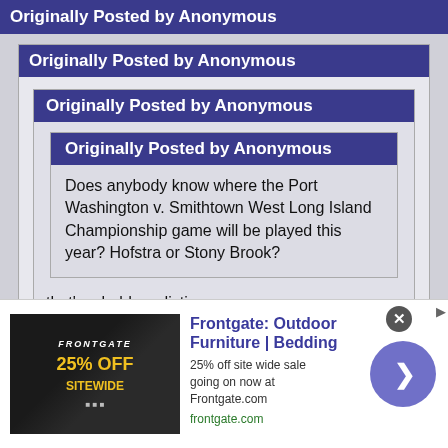Originally Posted by Anonymous
Originally Posted by Anonymous
Originally Posted by Anonymous
Originally Posted by Anonymous
Does anybody know where the Port Washington v. Smithtown West Long Island Championship game will be played this year? Hofstra or Stony Brook?
that's a bold prediction.
not really, Smithtown West is great at every position and now they have the best coach in the game.
Frontgate: Outdoor Furniture | Bedding
25% off site wide sale going on now at Frontgate.com
frontgate.com